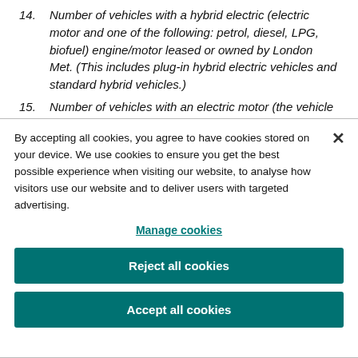14. Number of vehicles with a hybrid electric (electric motor and one of the following: petrol, diesel, LPG, biofuel) engine/motor leased or owned by London Met. (This includes plug-in hybrid electric vehicles and standard hybrid vehicles.)
15. Number of vehicles with an electric motor (the vehicle is only powered by electricity) engine leased or owned by
By accepting all cookies, you agree to have cookies stored on your device. We use cookies to ensure you get the best possible experience when visiting our website, to analyse how visitors use our website and to deliver users with targeted advertising.
Manage cookies
Reject all cookies
Accept all cookies